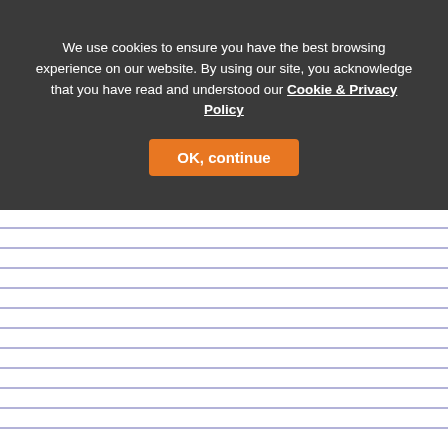We use cookies to ensure you have the best browsing experience on our website. By using our site, you acknowledge that you have read and understood our Cookie & Privacy Policy
OK, continue
[Figure (other): Left sidebar showing lined notebook paper with blue horizontal lines]
Blackcurrant plus Lutein - 6
TEMPORARILY OUT OF ST
Blackcurrant + Lutein - by Jarrow
Food Supplement
Jarrow Formulas Blackcurrant + Lu noted for their high content of polyp the berries their deep purple colour
Jarrow Formulas Blackcurrant + Lu carotenoids found in dark green lea the macular pigment in the eye.
Suggested use: Take 1 capsule 1 or 2 times per day health care consultant.
Other ingredients: